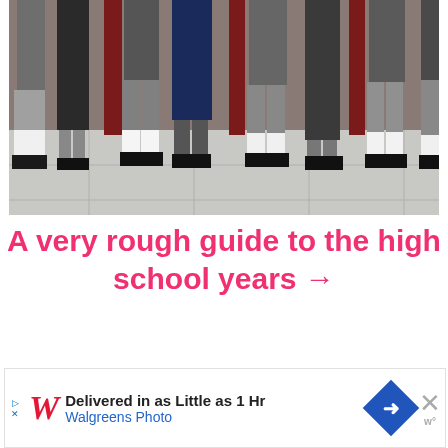[Figure (photo): Photograph showing the lower bodies and legs of a row of school children in uniforms standing on a tiled floor, visible from approximately waist down, wearing various school uniform items including skirts, trousers, white socks, and black school shoes.]
A very rough guide to the high school years →
[Figure (other): Advertisement banner for Walgreens Photo: 'Delivered in as Little as 1 Hr' with Walgreens logo, navigation icon, and close button.]